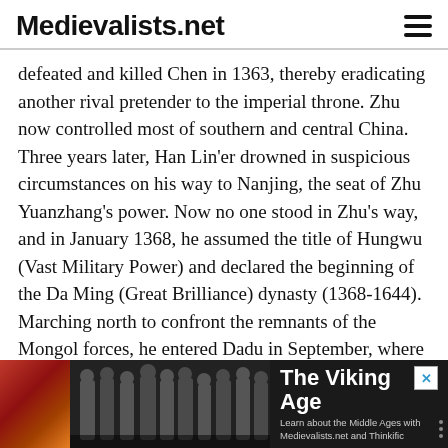Medievalists.net
defeated and killed Chen in 1363, thereby eradicating another rival pretender to the imperial throne. Zhu now controlled most of southern and central China. Three years later, Han Lin'er drowned in suspicious circumstances on his way to Nanjing, the seat of Zhu Yuanzhang's power. Now no one stood in Zhu's way, and in January 1368, he assumed the title of Hungwu (Vast Military Power) and declared the beginning of the Da Ming (Great Brilliance) dynasty (1368-1644). Marching north to confront the remnants of the Mongol forces, he entered Dadu in September, where he discovered that the last Yuan emperor had fled to Mongolia.
[Figure (infographic): Advertisement banner for 'The Viking Age' course on Medievalists.net and Thinkific, with dark background, decorative Viking figurines, and an orange/red landscape image on the left.]